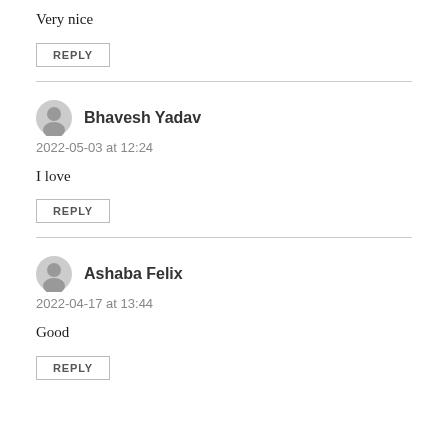Very nice
REPLY
Bhavesh Yadav
2022-05-03 at 12:24
I love
REPLY
Ashaba Felix
2022-04-17 at 13:44
Good
REPLY